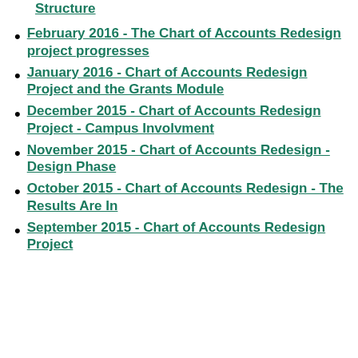Structure
February 2016 - The Chart of Accounts Redesign project progresses
January 2016 - Chart of Accounts Redesign Project and the Grants Module
December 2015 - Chart of Accounts Redesign Project - Campus Involvment
November 2015 - Chart of Accounts Redesign - Design Phase
October 2015 - Chart of Accounts Redesign - The Results Are In
September 2015 - Chart of Accounts Redesign Project